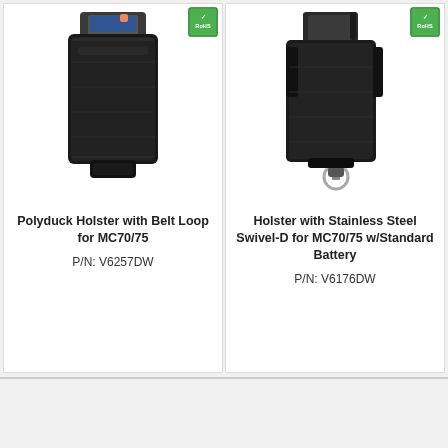[Figure (photo): Polyduck holster product photo — black fabric holster with belt loop, holding a Motorola MC70/75 handheld device. RoHS badge in upper right corner.]
Polyduck Holster with Belt Loop for MC70/75
P/N: V6257DW
[Figure (photo): Holster with stainless steel swivel-D product photo — black leather holster with swivel-D ring, holding a Motorola MC70/75 with standard battery. RoHS badge in upper right corner.]
Holster with Stainless Steel Swivel-D for MC70/75 w/Standard Battery
P/N: V6176DW